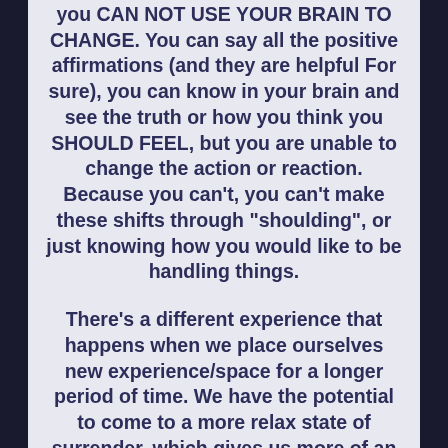you CAN NOT USE YOUR BRAIN TO CHANGE. You can say all the positive affirmations (and they are helpful For sure), you can know in your brain and see the truth or how you think you SHOULD FEEL, but you are unable to change the action or reaction. Because you can't, you can't make these shifts through "shoulding", or just knowing how you would like to be handling things.
There's a different experience that happens when we place ourselves new experience/space for a longer period of time. We have the potential to come to a more relax state of surrender, which gives us more of an opportunity for SUSTAINABLE